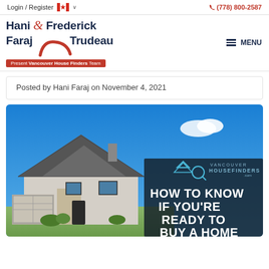Login / Register  🇨🇦  (778) 800-2587
[Figure (logo): Hani & Frederick Faraj & Trudeau - Present Vancouver House Finders Team logo with red ampersand script]
Posted by Hani Faraj on November 4, 2021
[Figure (photo): House exterior photo with Vancouver House Finders logo overlay and text 'HOW TO KNOW IF YOU'RE READY TO BUY A HOME']